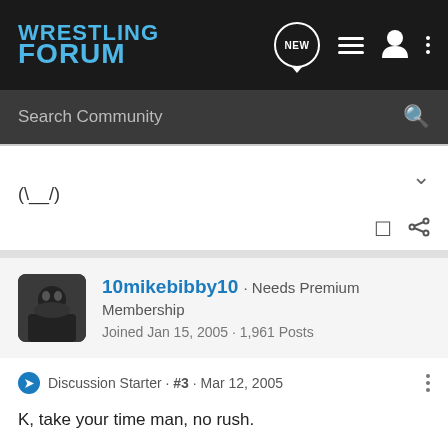WRESTLING FORUM
Search Community
(\_/)
10mikebibby10 · Needs Premium Membership
Joined Jan 15, 2005 · 1,961 Posts
Discussion Starter · #3 · Mar 12, 2005
K, take your time man, no rush.